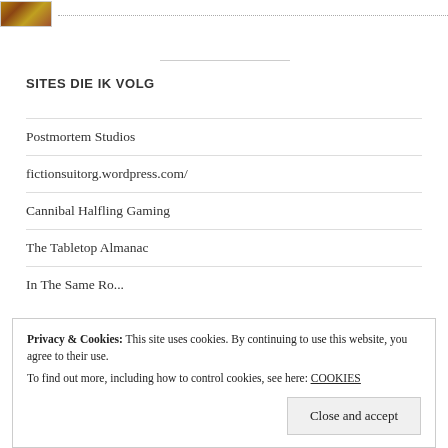[Figure (illustration): Small decorative image resembling a colorful brooch or ornament]
SITES DIE IK VOLG
Postmortem Studios
fictionsuitorg.wordpress.com/
Cannibal Halfling Gaming
The Tabletop Almanac
Privacy & Cookies: This site uses cookies. By continuing to use this website, you agree to their use.
To find out more, including how to control cookies, see here: COOKIES
Close and accept